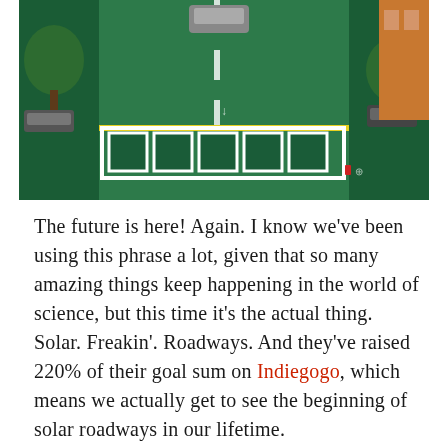[Figure (photo): Aerial view of a solar roadway intersection concept, showing green-tinted road surface with white lane markings, embedded solar panel tiles in a crosswalk area bordered by yellow line, trees on both sides, parked cars, and a building on the right.]
The future is here! Again. I know we've been using this phrase a lot, given that so many amazing things keep happening in the world of science, but this time it's the actual thing. Solar. Freakin'. Roadways. And they've raised 220% of their goal sum on Indiegogo, which means we actually get to see the beginning of solar roadways in our lifetime.
[adsense300gray]Solar Roadways is basically a modular paving system of solar panels, capable of withstanding even the heaviest of trucks, at 250,000